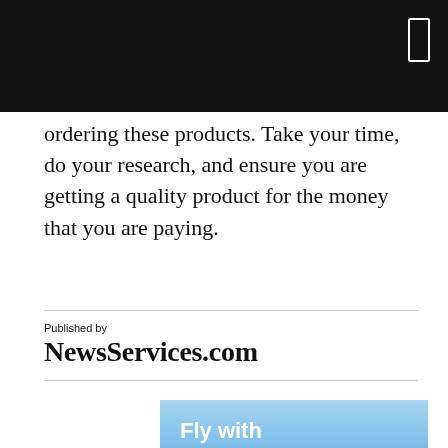ordering these products. Take your time, do your research, and ensure you are getting a quality product for the money that you are paying.
Published by
NewsServices.com
[Figure (photo): Advertisement image with blue sky background and white text reading 'Fly with']